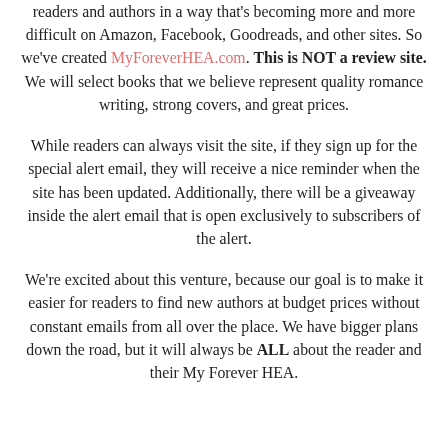readers and authors in a way that's becoming more and more difficult on Amazon, Facebook, Goodreads, and other sites. So we've created MyForeverHEA.com. This is NOT a review site. We will select books that we believe represent quality romance writing, strong covers, and great prices.
While readers can always visit the site, if they sign up for the special alert email, they will receive a nice reminder when the site has been updated. Additionally, there will be a giveaway inside the alert email that is open exclusively to subscribers of the alert.
We're excited about this venture, because our goal is to make it easier for readers to find new authors at budget prices without constant emails from all over the place. We have bigger plans down the road, but it will always be ALL about the reader and their My Forever HEA.